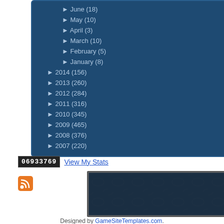► June (18)
► May (10)
► April (3)
► March (10)
► February (5)
► January (8)
► 2014 (156)
► 2013 (260)
► 2012 (284)
► 2011 (316)
► 2010 (345)
► 2009 (465)
► 2008 (376)
► 2007 (220)
06933769 View My Stats
[Figure (other): Dark textured banner image]
[Figure (logo): RSS feed orange icon]
Designed by GameSiteTemplates.com.